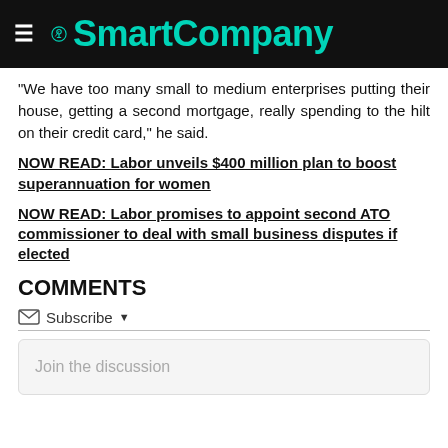SmartCompany
“We have too many small to medium enterprises putting their house, getting a second mortgage, really spending to the hilt on their credit card,” he said.
NOW READ: Labor unveils $400 million plan to boost superannuation for women
NOW READ: Labor promises to appoint second ATO commissioner to deal with small business disputes if elected
COMMENTS
Subscribe
Join the discussion